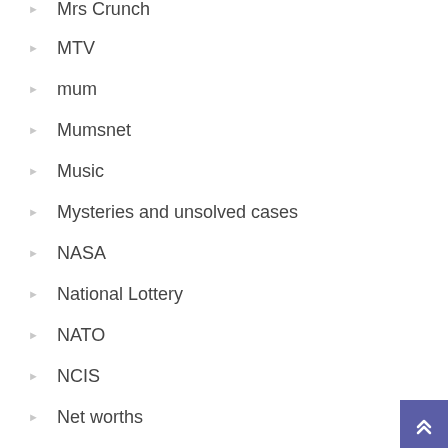Mrs Crunch
MTV
mum
Mumsnet
Music
Mysteries and unsolved cases
NASA
National Lottery
NATO
NCIS
Net worths
Netflix
News